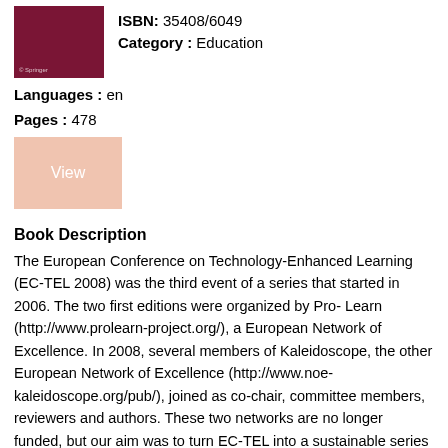[Figure (other): Book cover thumbnail — dark red/maroon background with small white Springer logo at bottom left]
ISBN: 35408/6049
Category : Education
Languages : en
Pages : 478
[Figure (other): View button — salmon/light pink rectangular button with white text 'View']
Book Description
The European Conference on Technology-Enhanced Learning (EC-TEL 2008) was the third event of a series that started in 2006. The two first editions were organized by Pro- Learn (http://www.prolearn-project.org/), a European Network of Excellence. In 2008, several members of Kaleidoscope, the other European Network of Excellence (http://www.noe-kaleidoscope.org/pub/), joined as co-chair, committee members, reviewers and authors. These two networks are no longer funded, but our aim was to turn EC-TEL into a sustainable series of high-quality events